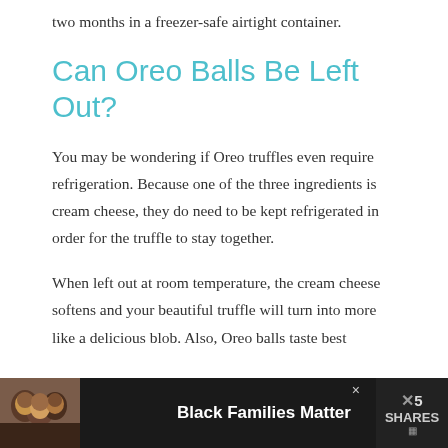two months in a freezer-safe airtight container.
Can Oreo Balls Be Left Out?
You may be wondering if Oreo truffles even require refrigeration. Because one of the three ingredients is cream cheese, they do need to be kept refrigerated in order for the truffle to stay together.
When left out at room temperature, the cream cheese softens and your beautiful truffle will turn into more like a delicious blob. Also, Oreo balls taste best
[Figure (infographic): Advertisement banner at the bottom of the page with dark background, showing a photo of people on the left, 'Black Families Matter' text in bold white in the center, a close (x) button, and a shares counter on the right showing X5 SHARES.]